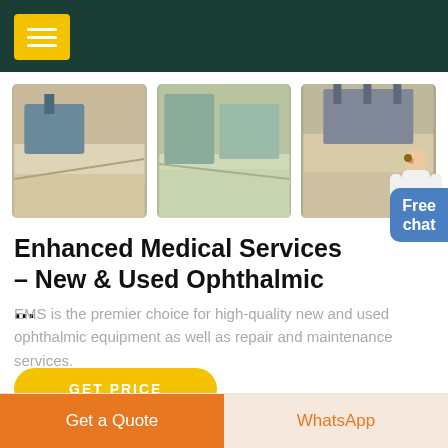[Figure (photo): Three industrial/mining machinery photos showing conveyor belts and processing equipment]
[Figure (photo): Customer service representative figure (person with headset) next to blue Free chat widget]
Enhanced Medical Services – New & Used Ophthalmic ...
EMS is the premier choice for high-quality new and used ophthalmic equipment as well as repair and maintenance services.
GET PRICE
Get a Quote
WhatsApp